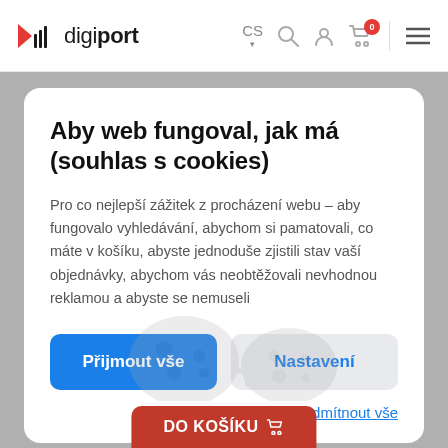digiport — CS (language selector, search, account, cart with 0 items, menu icons)
Aby web fungoval, jak má (souhlas s cookies)
Pro co nejlepší zážitek z procházení webu – aby fungovalo vyhledávání, abychom si pamatovali, co máte v košíku, abyste jednoduše zjistili stav vaší objednávky, abychom vás neobtěžovali nevhodnou reklamou a abyste se nemuseli
Přijmout vše
Nastavení
Odmítnout vše
[Figure (illustration): Cookie/biscuit illustration in light gray]
DO KOŠÍKU